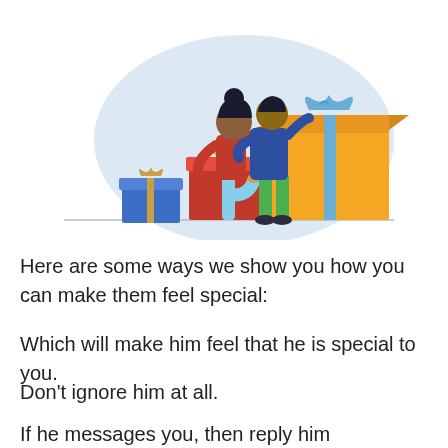[Figure (illustration): A couple standing together surrounded by gift boxes. A woman with dark hair in a bun wearing a red top and light blue pants faces a man in a blue top and green pants. There are colorful wrapped gifts around them — a blue gift box, red gift boxes with orange ribbon, and a large orange gift box with a blue bow. The background has a soft light blue rounded shape.]
Here are some ways we show you how you can make them feel special:
Which will make him feel that he is special to you.
Don't ignore him at all.
If he messages you, then reply him immediately; if he